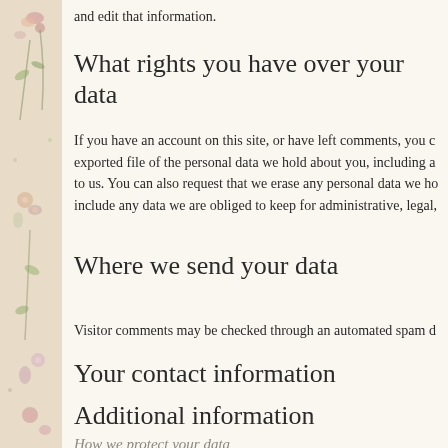and edit that information.
What rights you have over your data
If you have an account on this site, or have left comments, you can request to receive an exported file of the personal data we hold about you, including any data you have provided to us. You can also request that we erase any personal data we hold about you. This does not include any data we are obliged to keep for administrative, legal,
Where we send your data
Visitor comments may be checked through an automated spam d
Your contact information
Additional information
How we protect your data
What data breach procedures we have in place